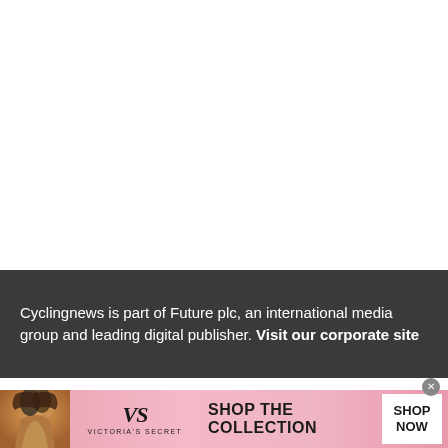Cyclingnews is part of Future plc, an international media group and leading digital publisher. Visit our corporate site
[Figure (photo): Victoria's Secret advertisement banner with a woman model on the left, VS logo in center, 'SHOP THE COLLECTION' text, and 'SHOP NOW' button on pink background]